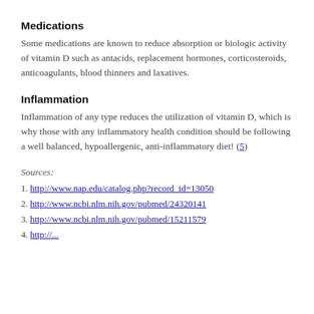Medications
Some medications are known to reduce absorption or biologic activity of vitamin D such as antacids, replacement hormones, corticosteroids, anticoagulants, blood thinners and laxatives.
Inflammation
Inflammation of any type reduces the utilization of vitamin D, which is why those with any inflammatory health condition should be following a well balanced, hypoallergenic, anti-inflammatory diet! (5)
Sources:
1. http://www.nap.edu/catalog.php?record_id=13050
2. http://www.ncbi.nlm.nih.gov/pubmed/24320141
3. http://www.ncbi.nlm.nih.gov/pubmed/15211579
4. http://...